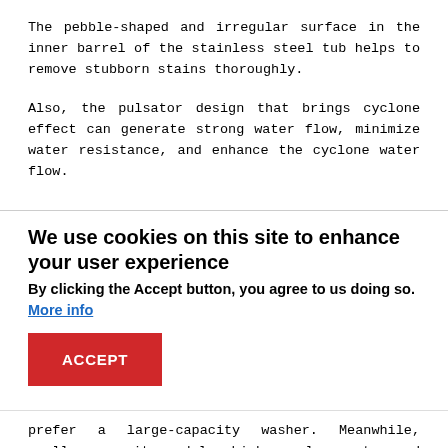The pebble-shaped and irregular surface in the inner barrel of the stainless steel tub helps to remove stubborn stains thoroughly.
Also, the pulsator design that brings cyclone effect can generate strong water flow, minimize water resistance, and enhance the cyclone water flow.
We use cookies on this site to enhance your user experience
By clicking the Accept button, you agree to us doing so. More info
ACCEPT
prefer a large-capacity washer. Meanwhile, smaller-capacity models which use less water and energy can be economical for singles and couples.